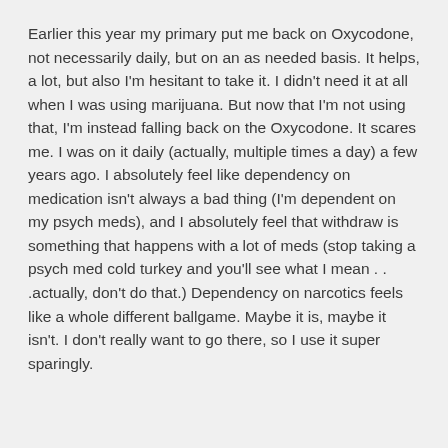Earlier this year my primary put me back on Oxycodone, not necessarily daily, but on an as needed basis. It helps, a lot, but also I'm hesitant to take it. I didn't need it at all when I was using marijuana. But now that I'm not using that, I'm instead falling back on the Oxycodone. It scares me. I was on it daily (actually, multiple times a day) a few years ago. I absolutely feel like dependency on medication isn't always a bad thing (I'm dependent on my psych meds), and I absolutely feel that withdraw is something that happens with a lot of meds (stop taking a psych med cold turkey and you'll see what I mean . . .actually, don't do that.) Dependency on narcotics feels like a whole different ballgame. Maybe it is, maybe it isn't. I don't really want to go there, so I use it super sparingly.